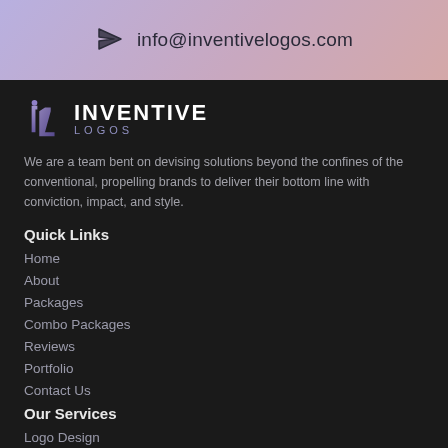info@inventivelogos.com
[Figure (logo): Inventive Logos logo mark — stylized 'iL' letters in purple/lavender tones]
INVENTIVE LOGOS
We are a team bent on devising solutions beyond the confines of the conventional, propelling brands to deliver their bottom line with conviction, impact, and style.
Quick Links
Home
About
Packages
Combo Packages
Reviews
Portfolio
Contact Us
Our Services
Logo Design